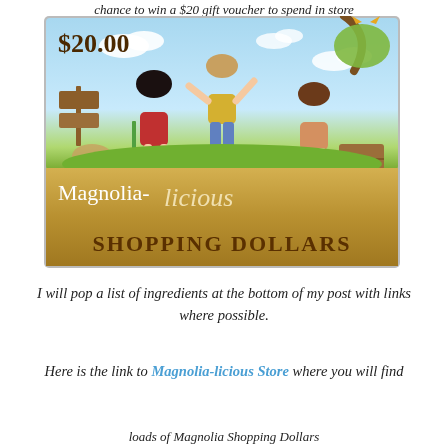chance to win a $20 gift voucher to spend in store
[Figure (illustration): A $20.00 Magnolia-licious Shopping Dollars gift card featuring illustrated cartoon children playing outdoors with a cat in a tree. The bottom portion has a gold/tan banner reading 'Magnolia-licious SHOPPING DOLLARS'.]
I will pop a list of ingredients at the bottom of my post with links where possible.
Here is the link to Magnolia-licious Store where you will find